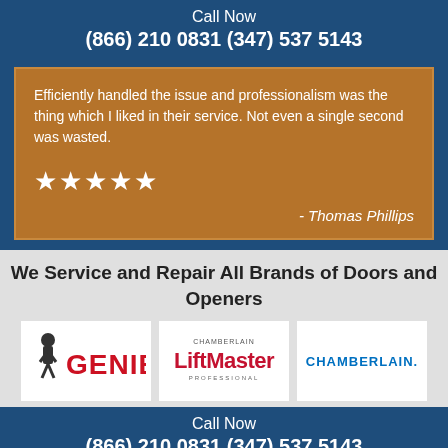Call Now
(866) 210 0831 (347) 537 5143
Efficiently handled the issue and professionalism was the thing which I liked in their service. Not even a single second was wasted.
★★★★★
- Thomas Phillips
We Service and Repair All Brands of Doors and Openers
[Figure (logo): Genie brand logo with figure icon and red stylized text]
[Figure (logo): LiftMaster Professional brand logo with red text]
[Figure (logo): Chamberlain brand logo in blue text]
Call Now
(866) 210 0831 (347) 537 5143